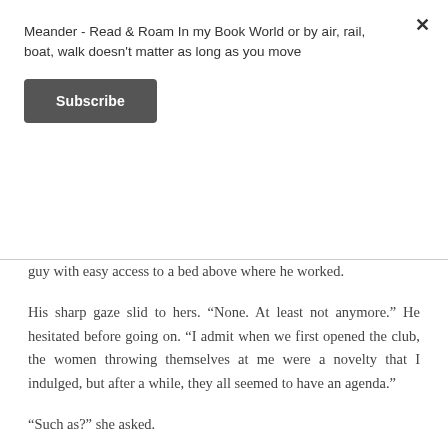Meander - Read & Roam In my Book World or by air, rail, boat, walk doesn't matter as long as you move
Subscribe
guy with easy access to a bed above where he worked.
His sharp gaze slid to hers. “None. At least not anymore.” He hesitated before going on. “I admit when we first opened the club, the women throwing themselves at me were a novelty that I indulged, but after a while, they all seemed to have an agenda.”
“Such as?” she asked.
“They assumed because I owned the club I had money, and they wanted to be the woman on my arm